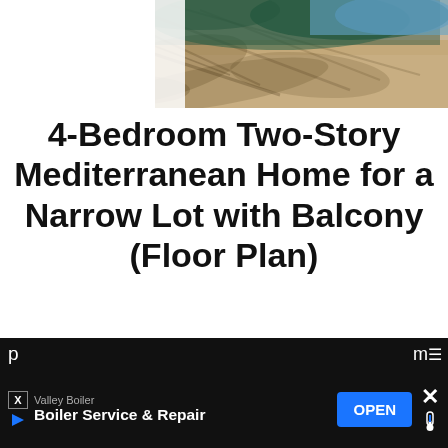[Figure (photo): Partial photo of outdoor driveway/ground with tree shadows and foliage, cropped at top]
4-Bedroom Two-Story Mediterranean Home for a Narrow Lot with Balcony (Floor Plan)
Specifications: Sq. Ft.: 2,890 Bedrooms: 4 Bathrooms: 4 Stories: 2 Garages: 2 Welcome to photos and footprint for a 4-bedroom two-story Mediterranean home. Here's the floor
[Figure (screenshot): Advertisement bar at bottom: Valley Boiler - Boiler Service & Repair with OPEN button, and partial text on sides]